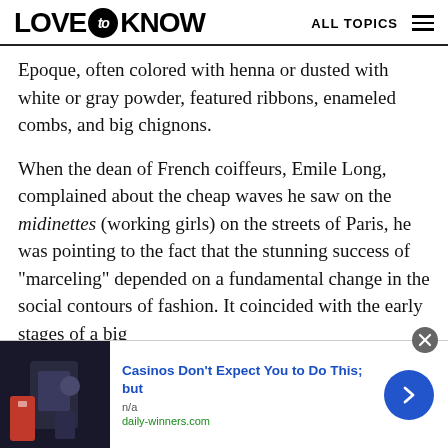LOVE to KNOW  ALL TOPICS
Epoque, often colored with henna or dusted with white or gray powder, featured ribbons, enameled combs, and big chignons.
When the dean of French coiffeurs, Emile Long, complained about the cheap waves he saw on the midinettes (working girls) on the streets of Paris, he was pointing to the fact that the stunning success of "marceling" depended on a fundamental change in the social contours of fashion. It coincided with the early stages of a big
[Figure (other): Advertisement banner: image of a person on left, text 'Casinos Don't Expect You to Do This; but' with 'n/a' and 'daily-winners.com', a blue arrow button on right, and a close X button.]